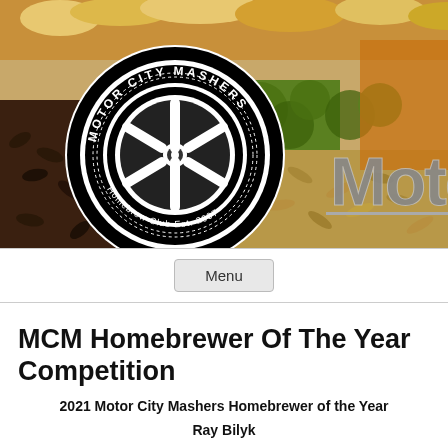[Figure (photo): Motor City Mashers homebrew club banner. Shows a circular black and white logo with a wheel/tire design reading 'Motor City Mashers Homebrew Club Est. 2007' on a background of beer, hops, and grain. The word 'Motor' is partially visible in large silver/chrome text on the right side.]
Menu
MCM Homebrewer Of The Year Competition
2021 Motor City Mashers Homebrewer of the Year
Ray Bilyk